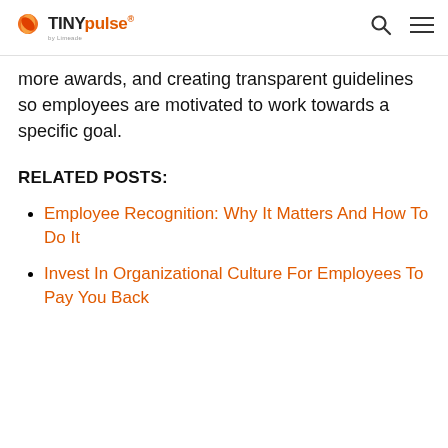TINYpulse by Limeade
more awards, and creating transparent guidelines so employees are motivated to work towards a specific goal.
RELATED POSTS:
Employee Recognition: Why It Matters And How To Do It
Invest In Organizational Culture For Employees To Pay You Back